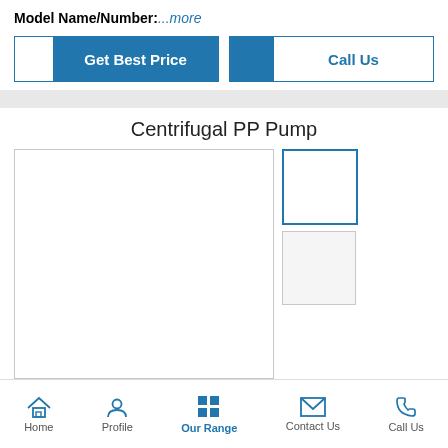Model Name/Number: ...more
[Figure (screenshot): Two buttons: 'Get Best Price' (blue fill) and 'Call Us' (blue outline with blue icon area)]
Centrifugal PP Pump
[Figure (photo): Main product image area (white/empty) with two thumbnail boxes on the right side]
Home   Profile   Our Range   Contact Us   Call Us